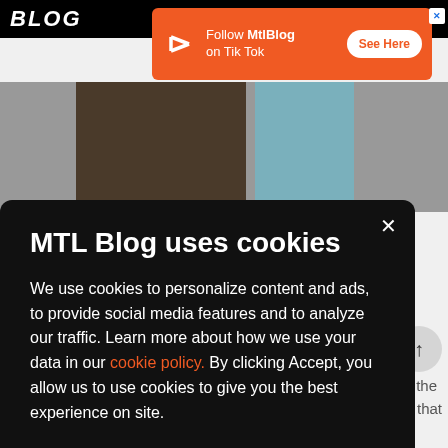[Figure (screenshot): MTL Blog website screenshot showing logo, orange TikTok ad banner, and partial photo of outdoor scene with picnic table]
MTL Blog uses cookies
We use cookies to personalize content and ads, to provide social media features and to analyze our traffic. Learn more about how we use your data in our cookie policy. By clicking Accept, you allow us to use cookies to give you the best experience on site.
Accept